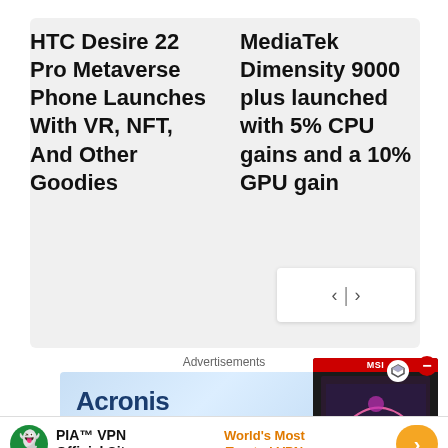HTC Desire 22 Pro Metaverse Phone Launches With VR, NFT, And Other Goodies
MediaTek Dimensity 9000 plus launched with 5% CPU gains and a 10% GPU gain
Advertisements
[Figure (photo): Acronis advertisement banner with headline 'Acronis' and tagline 'Healthcare has evolved. Your IT should too.']
[Figure (photo): MSI laptop product listing showing price ₹1,33,889.99 with red MSI branding and a dark laptop image]
[Figure (photo): PIA VPN advertisement banner: PIA VPN Official Site - World's Most Trusted VPN, with orange arrow button]